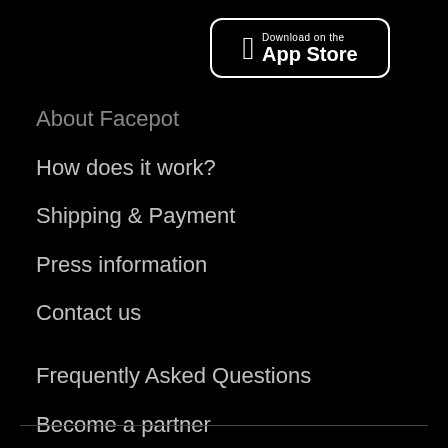[Figure (logo): Download on the App Store badge — black background with white border, Apple logo, text 'Download on the App Store']
About Facepot
How does it work?
Shipping & Payment
Press information
Contact us
Frequently Asked Questions
Become a partner
Privacy Statement
Terms & Conditions
Cookie Policy
Imprint